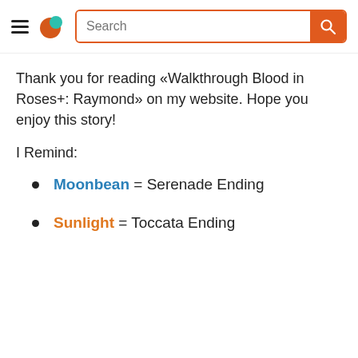Search [navigation header with hamburger menu, logo, and search bar]
Thank you for reading «Walkthrough Blood in Roses+: Raymond» on my website. Hope you enjoy this story!
I Remind:
Moonbean = Serenade Ending
Sunlight = Toccata Ending